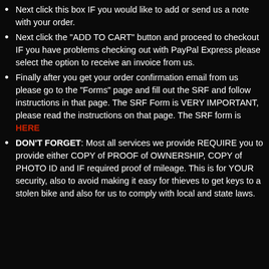Next click this box IF you would like to add or send us a note with your order.
Next click the "ADD TO CART" button and proceed to checkout IF you have problems checking out with PayPal Express please select the option to receive an invoice from us.
Finally after you get your order confirmation email from us please go to the "Forms" page and fill out the SRF and follow instructions in that page. The SRF Form is VERY IMPORTANT, please read the instructions on that page. The SRF form is HERE
DON'T FORGET: Most all services we provide REQUIRE you to provide either COPY of PROOF of OWNERSHIP, COPY of PHOTO ID and IF required proof of mileage. This is for YOUR security, also to avoid making it easy for thieves to get keys to a stolen bike and also for us to comply with local and state laws.